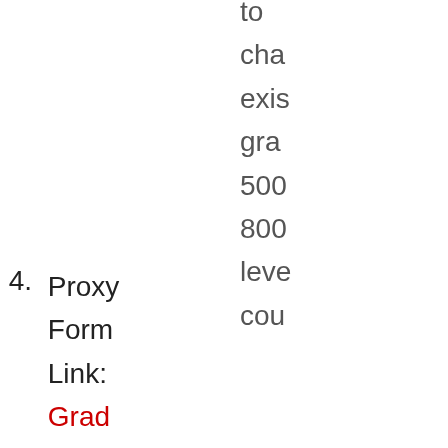to cha exis gra 500 800 leve cou
4. Proxy Form Link: Grad Committee Proxy form
5. New Graduate Experiment Course (X-Course) Creation Form: